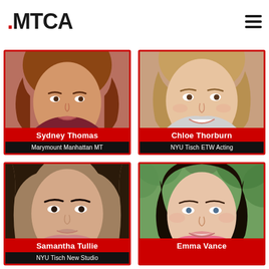MTCA
[Figure (photo): Headshot photo of Sydney Thomas, young woman with curly reddish-brown hair wearing dark red top]
Sydney Thomas
Marymount Manhattan MT
[Figure (photo): Headshot photo of Chloe Thorburn, young woman with light hair, smiling]
Chloe Thorburn
NYU Tisch ETW Acting
[Figure (photo): Headshot photo of Samantha Tullie, young woman with dark wavy hair]
Samantha Tullie
NYU Tisch New Studio
[Figure (photo): Headshot photo of Emma Vance, young woman with dark hair, wearing pink top, outdoors]
Emma Vance